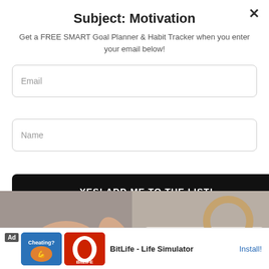Subject: Motivation
Get a FREE SMART Goal Planner & Habit Tracker when you enter your email below!
Email
Name
YES! ADD ME TO THE LIST!
[Figure (photo): A hand holding a book with text: HIS MISTRESS IS DEAD. HIS WIFE IS HIS ONLY HOPE. JENEVA ROSE]
Ad Cheating? BitLife - Life Simulator Install!